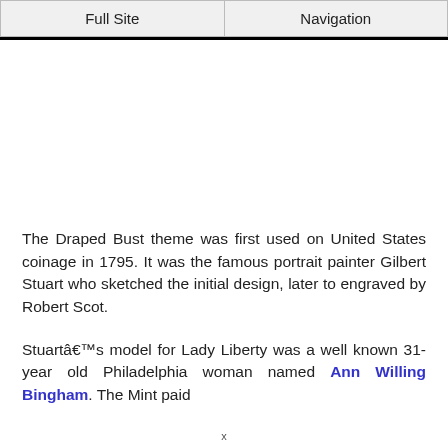Full Site | Navigation
The Draped Bust theme was first used on United States coinage in 1795. It was the famous portrait painter Gilbert Stuart who sketched the initial design, later to engraved by Robert Scot.
Stuartâ€™s model for Lady Liberty was a well known 31-year old Philadelphia woman named Ann Willing Bingham. The Mint paid